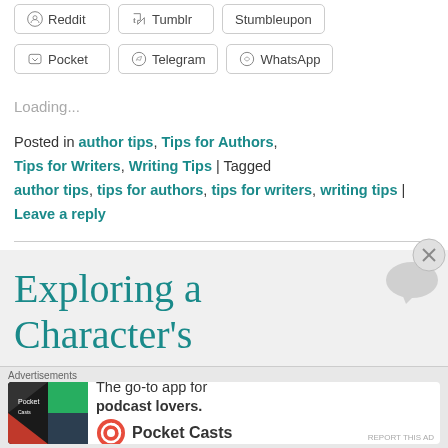[Figure (screenshot): Social share buttons row: Reddit, Tumblr, Stumbleupon]
[Figure (screenshot): Social share buttons row: Pocket, Telegram, WhatsApp]
Loading...
Posted in author tips, Tips for Authors, Tips for Writers, Writing Tips | Tagged author tips, tips for authors, tips for writers, writing tips | Leave a reply
Exploring a Character’s
Advertisements
[Figure (screenshot): Advertisement banner: Pocket Casts - The go-to app for podcast lovers.]